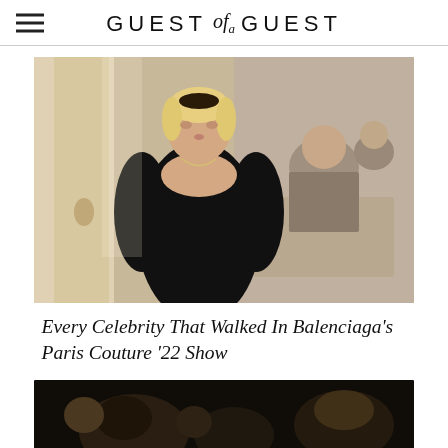GUEST of a GUEST
[Figure (photo): A woman in a black long-sleeve fitted dress standing at what appears to be a fashion show, with audience members seated in the background. She has platinum blonde hair and is wearing a necklace.]
Every Celebrity That Walked In Balenciaga's Paris Couture '22 Show
[Figure (photo): A dark, partially visible image showing figures in a dimly lit setting, likely a continuation of the article about the Balenciaga Paris Couture 2022 show.]